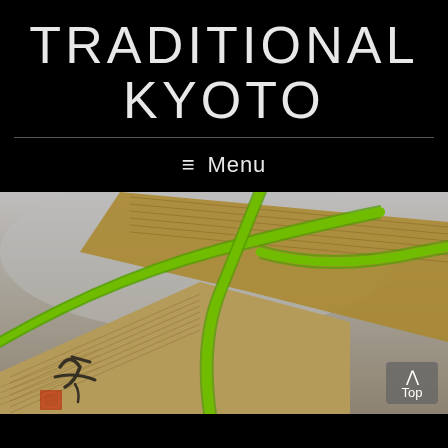TRADITIONAL KYOTO
≡  Menu
[Figure (photo): Close-up photo of traditional Japanese geta sandals with green (bright lime) fabric straps and wooden soles with Japanese calligraphy markings, shot on a light gray background with shallow depth of field.]